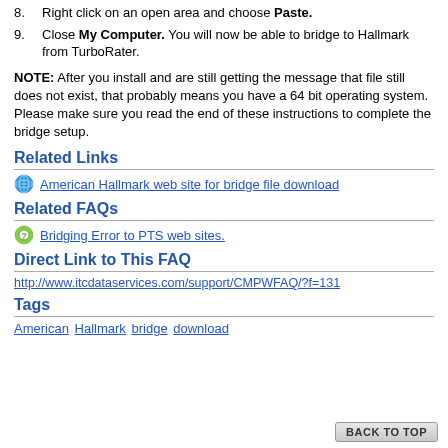8. Right click on an open area and choose Paste.
9. Close My Computer. You will now be able to bridge to Hallmark from TurboRater.
NOTE: After you install and are still getting the message that file still does not exist, that probably means you have a 64 bit operating system. Please make sure you read the end of these instructions to complete the bridge setup.
Related Links
American Hallmark web site for bridge file download
Related FAQs
Bridging Error to PTS web sites.
Direct Link to This FAQ
http://www.itcdataservices.com/support/CMPWFAQ/?f=131
Tags
American Hallmark bridge download